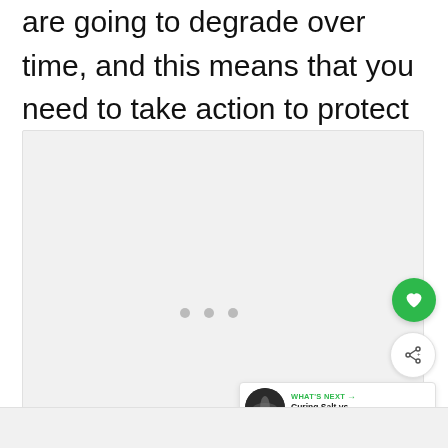are going to degrade over time, and this means that you need to take action to protect them.
[Figure (other): A large light gray image placeholder area with three small gray dots centered near the bottom, indicating a loading or empty content area. A green circular heart/favorite button and a white circular share button are overlaid on the right side. A 'What's Next' card appears at the bottom right with a thumbnail and text 'Curing Salt vs. Pickling Salt...']